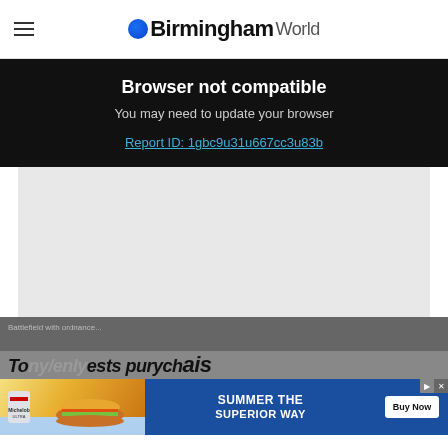BirminghamWorld
Browser not compatible
You may need to update your browser
Report ID: 1gbc9u31u667cc3u83b
[Figure (other): Gray placeholder content area]
Ba...
To...
[Figure (other): Advertisement banner: Summer the Superior Way - Michelob Ultra beer with burger, Buy Now button]